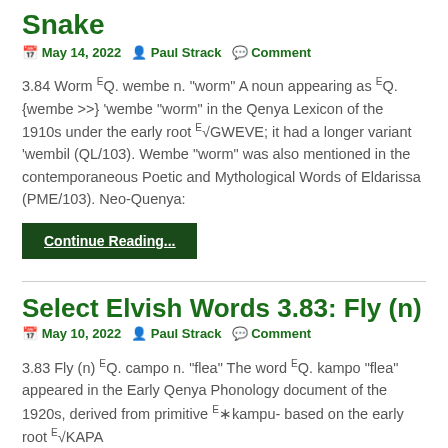Snake
May 14, 2022  Paul Strack  Comment
3.84 Worm ᴱQ. wembe n. "worm" A noun appearing as ᴱQ. {wembe >>} 'wembe "worm" in the Qenya Lexicon of the 1910s under the early root ᴱ√GWEVE; it had a longer variant 'wembil (QL/103). Wembe "worm" was also mentioned in the contemporaneous Poetic and Mythological Words of Eldarissa (PME/103). Neo-Quenya:
Continue Reading...
Select Elvish Words 3.83: Fly (n)
May 10, 2022  Paul Strack  Comment
3.83 Fly (n) ᴱQ. campo n. "flea" The word ᴱQ. kampo "flea" appeared in the Early Qenya Phonology document of the 1920s, derived from primitive ᴱ∗kampu- based on the early root ᴱ√KAPA